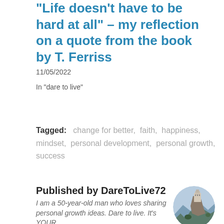“Life doesn’t have to be hard at all” – my reflection on a quote from the book by T. Ferriss
11/05/2022
In "dare to live"
Tagged:   change for better,  faith,  happiness,  mindset,  personal development,  personal growth,  success
Published by DareToLive72
I am a 50-year-old man who loves sharing personal growth ideas. Dare to live. It's YOUR
[Figure (photo): Circular avatar image showing a landscape with a cliffside building or monastery]